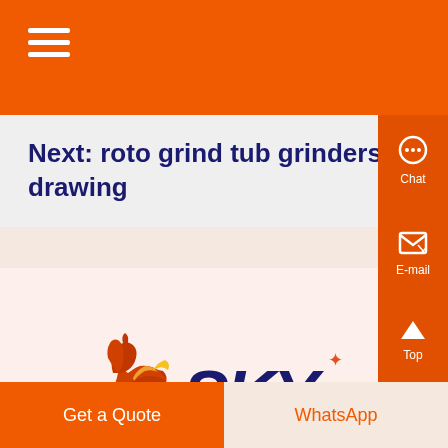[Figure (logo): Hamburger menu icon (three white horizontal lines) on orange background top bar]
Next: roto grind tub grinders schematic drawing
[Figure (logo): SKY company logo with a flaming winged horse in orange/yellow and SKY text in dark navy blue]
[Figure (other): Right sidebar with orange background containing Chat icon, E-mail icon, Top arrow button, and X close button in white]
Get a Quote
WhatsApp